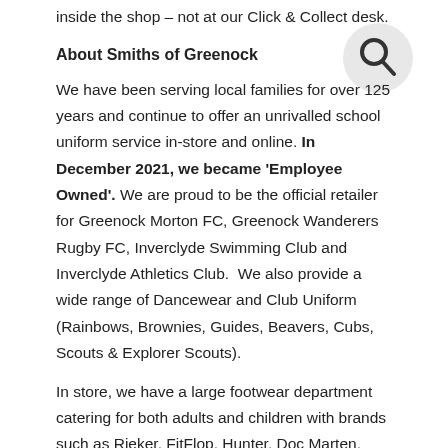inside the shop – not at our Click & Collect desk.
[Figure (illustration): Search icon (magnifying glass) in a light grey circle]
About Smiths of Greenock
We have been serving local families for over 125 years and continue to offer an unrivalled school uniform service in-store and online. In December 2021, we became 'Employee Owned'. We are proud to be the official retailer for Greenock Morton FC, Greenock Wanderers Rugby FC, Inverclyde Swimming Club and Inverclyde Athletics Club. We also provide a wide range of Dancewear and Club Uniform (Rainbows, Brownies, Guides, Beavers, Cubs, Scouts & Explorer Scouts).
In store, we have a large footwear department catering for both adults and children with brands such as Rieker, FitFlop, Hunter, Doc Marten, Hush Puppies, Kickers, Geox, Regatta Outdoors, Nike & Adidas.
For that special day, our Highland wear department has a team